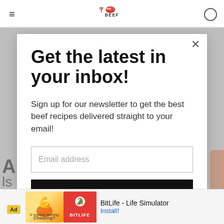[Figure (logo): Best Beef Recipes logo with a fork and meat icon]
Get the latest in your inbox!
Sign up for our newsletter to get the best beef recipes delivered straight to your email!
Email address
SUBSCRIBE
[Figure (screenshot): Ad banner for BitLife - Life Simulator app with install button]